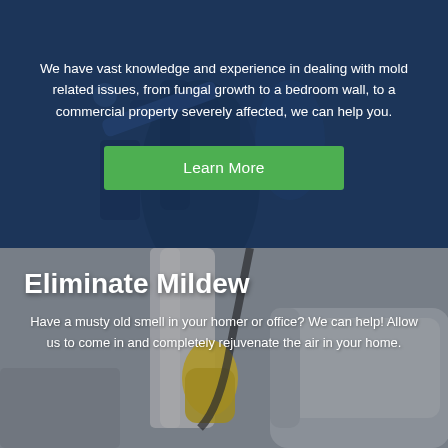[Figure (photo): Dark blue-tinted background photo of a person using professional cleaning equipment with a spray nozzle and tank, overlaid with semi-transparent dark blue wash.]
We have vast knowledge and experience in dealing with mold related issues, from fungal growth to a bedroom wall, to a commercial property severely affected, we can help you.
Learn More
[Figure (photo): Photo showing a person wearing yellow rubber gloves using cleaning equipment near a grey sofa, associated with mildew elimination service.]
Eliminate Mildew
Have a musty old smell in your homer or office? We can help! Allow us to come in and completely rejuvenate the air in your home.